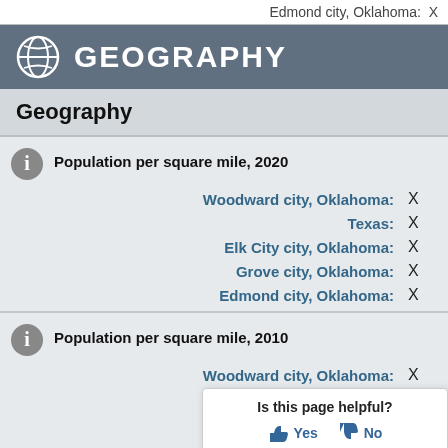Edmond city, Oklahoma: X
GEOGRAPHY
Geography
Population per square mile, 2020
Woodward city, Oklahoma: X
Texas: X
Elk City city, Oklahoma: X
Grove city, Oklahoma: X
Edmond city, Oklahoma: X
Population per square mile, 2010
Woodward city, Oklahoma: X
X
[Figure (other): Is this page helpful? Yes / No popup box]
Elk City city, Oklahoma: